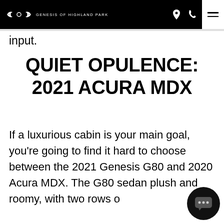GENESIS OF HIGHLAND PARK
input.
QUIET OPULENCE: 2021 ACURA MDX
If a luxurious cabin is your main goal, you're going to find it hard to choose between the 2021 Genesis G80 and 2020 Acura MDX. The G80 sedan plush and roomy, with two rows of